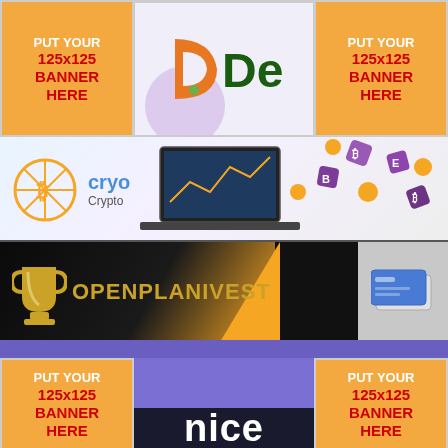[Figure (infographic): Orange banner placeholder: PUT YOUR 125x125 BANNER HERE (top left)]
[Figure (logo): Center top banner showing partial orange D logo and green bracket/De text on light purple background]
[Figure (infographic): Orange banner placeholder: PUT YOUR 125x125 BANNER HERE (top right)]
[Figure (infographic): Crypto banner row with orange/yellow cryptocurrency logo, 'cryo/Crypto' text, laptop and flying crypto coins illustration]
[Figure (infographic): OPENPLANIVEST dark banner with gold trophy/cup logo on dark background with yellow triangle accent and gray area on right]
[Figure (infographic): Purple strip divider]
[Figure (infographic): Orange banner placeholder: PUT YOUR 125x125 BANNER HERE (bottom left)]
[Figure (infographic): Center bottom area split: purple top half, dark navy bottom half with 'nice' text in white]
[Figure (infographic): Orange banner placeholder: PUT YOUR 125x125 BANNER HERE (bottom right)]